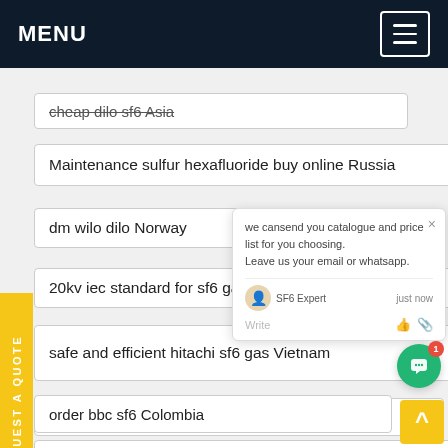MENU
cheap dilo sf6 Asia
Maintenance sulfur hexafluoride buy online Russia
dm wilo dilo Norway
20kv iec standard for sf6 gas Ecuador
safe and efficient hitachi sf6 gas Vietnam
Custom Designed sf6 recycling Egypt
order bbc sf6 Colombia
best sulfur hexafluoride cost Italy
REQUEST A QUOTE
we cansend you catalogue and price list for you choosing. Leave us your email or whatsapp. SF6 Expert just now Write